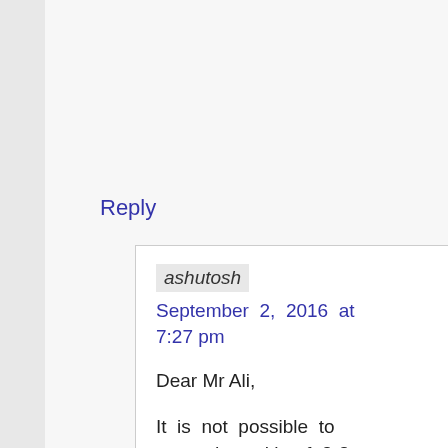Reply
ashutosh
September 2, 2016 at 7:27 pm
Dear Mr Ali,
It is not possible to created wealth of 2-3